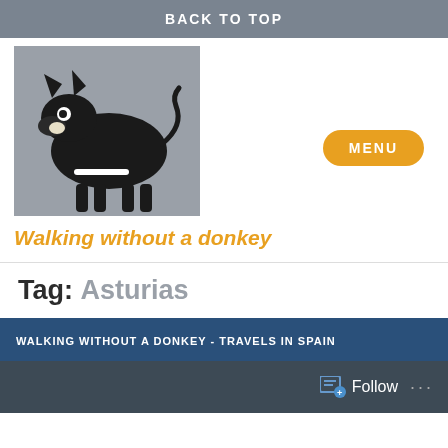BACK TO TOP
[Figure (illustration): Stylized black donkey silhouette illustration on grey background]
MENU
Walking without a donkey
Tag: Asturias
WALKING WITHOUT A DONKEY - TRAVELS IN SPAIN
Follow